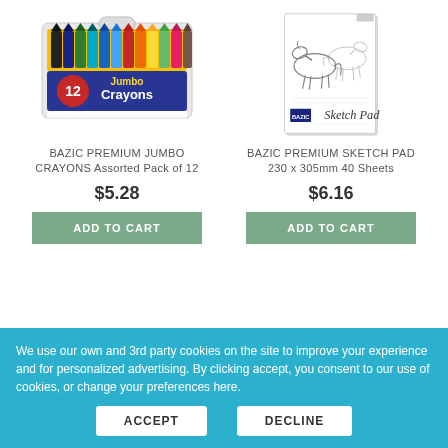[Figure (photo): BAZIC 12 Jumbo Crayons assorted pack in plastic case with yellow and blue packaging]
[Figure (photo): BAZIC Sketch Pad 230 x 305mm 40 Sheets with horse illustration on cover]
BAZIC PREMIUM JUMBO CRAYONS Assorted Pack of 12
$5.28
ADD TO CART
BAZIC PREMIUM SKETCH PAD 230 x 305mm 40 Sheets
$6.16
ADD TO CART
We use our own and 3rd party cookies on the site to improve your experience and for personalized advertising. By clicking accept, you consent to our use of cookies, or change your preferences here.
ACCEPT
DECLINE